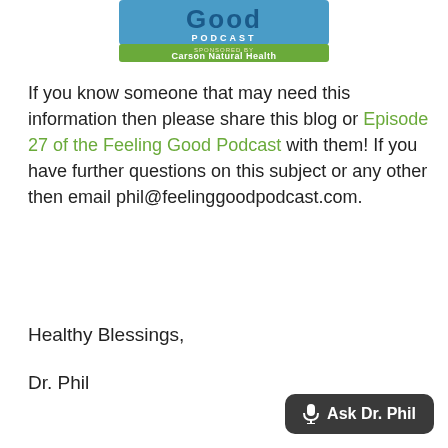[Figure (logo): Feeling Good Podcast logo with green banner reading 'SPONSORED BY Carson Natural Health']
If you know someone that may need this information then please share this blog or Episode 27 of the Feeling Good Podcast with them! If you have further questions on this subject or any other then email phil@feelinggoodpodcast.com.
Healthy Blessings,
Dr. Phil